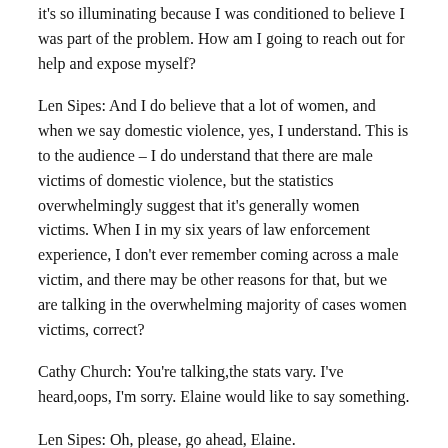it's so illuminating because I was conditioned to believe I was part of the problem. How am I going to reach out for help and expose myself?
Len Sipes: And I do believe that a lot of women, and when we say domestic violence, yes, I understand. This is to the audience – I do understand that there are male victims of domestic violence, but the statistics overwhelmingly suggest that it's generally women victims. When I in my six years of law enforcement experience, I don't ever remember coming across a male victim, and there may be other reasons for that, but we are talking in the overwhelming majority of cases women victims, correct?
Cathy Church: You're talking,the stats vary. I've heard,oops, I'm sorry. Elaine would like to say something.
Len Sipes: Oh, please, go ahead, Elaine.